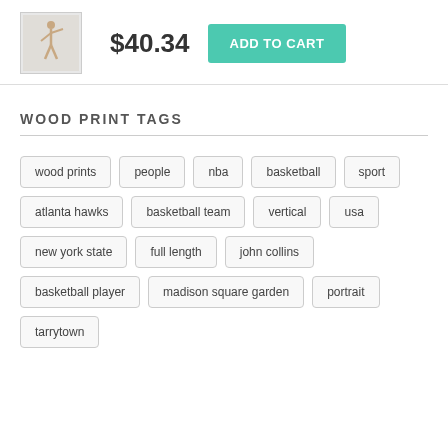[Figure (photo): Small thumbnail of a basketball player jumping, wood print product image]
$40.34
ADD TO CART
WOOD PRINT TAGS
wood prints
people
nba
basketball
sport
atlanta hawks
basketball team
vertical
usa
new york state
full length
john collins
basketball player
madison square garden
portrait
tarrytown